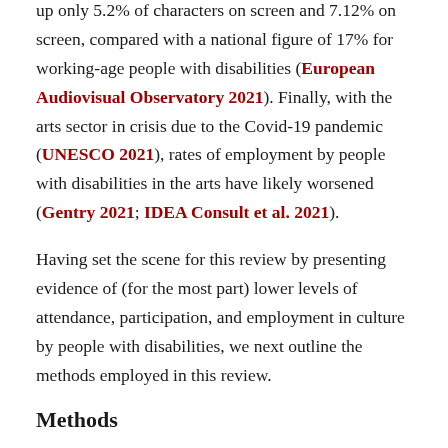up only 5.2% of characters on screen and 7.12% on screen, compared with a national figure of 17% for working-age people with disabilities (European Audiovisual Observatory 2021). Finally, with the arts sector in crisis due to the Covid-19 pandemic (UNESCO 2021), rates of employment by people with disabilities in the arts have likely worsened (Gentry 2021; IDEA Consult et al. 2021).
Having set the scene for this review by presenting evidence of (for the most part) lower levels of attendance, participation, and employment in culture by people with disabilities, we next outline the methods employed in this review.
Methods